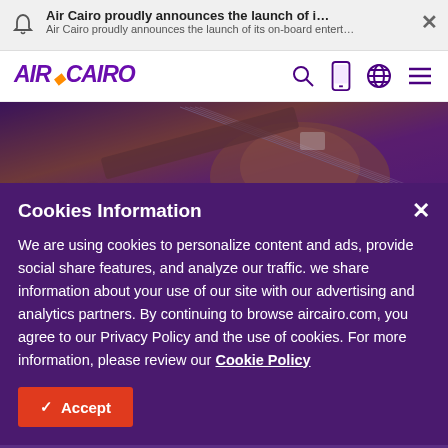Air Cairo proudly announces the launch of i… Air Cairo proudly announces the launch of its on-board entert…
[Figure (logo): Air Cairo logo in purple and orange italic bold font]
Musical Instruments
Home · Travel info · Baggage · Musical Instruments
Cookies Information
We are using cookies to personalize content and ads, provide social share features, and analyze our traffic. we share information about your use of our site with our advertising and analytics partners. By continuing to browse aircairo.com, you agree to our Privacy Policy and the use of cookies. For more information, please review our Cookie Policy
…option of taking your musical instrument with … cabin. Depending on the weight and size, you…